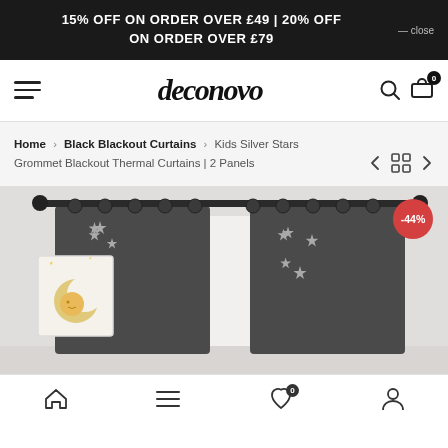15% OFF ON ORDER OVER £49 | 20% OFF ON ORDER OVER £79 — close
[Figure (logo): Deconovo logo with hamburger menu, search icon, and cart icon showing 0 items]
Home > Black Blackout Curtains > Kids Silver Stars Grommet Blackout Thermal Curtains | 2 Panels
[Figure (photo): Dark grey blackout curtains with silver star pattern on a rod, with a moon and stars wall art on the left. Red -44% discount badge in top right.]
Home | Menu | Wishlist (0) | Account